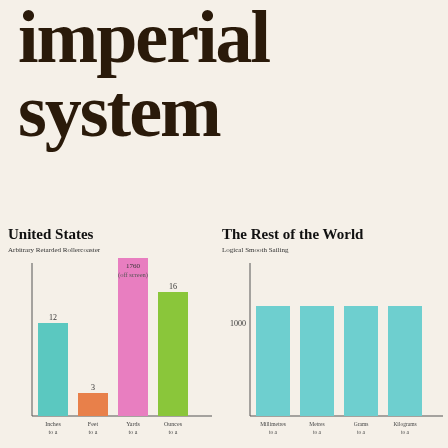imperial system
United States
Arbitrary Retarded Rollercoaster
[Figure (bar-chart): Arbitrary Retarded Rollercoaster]
The Rest of the World
Logical Smooth Sailing
[Figure (bar-chart): Logical Smooth Sailing]